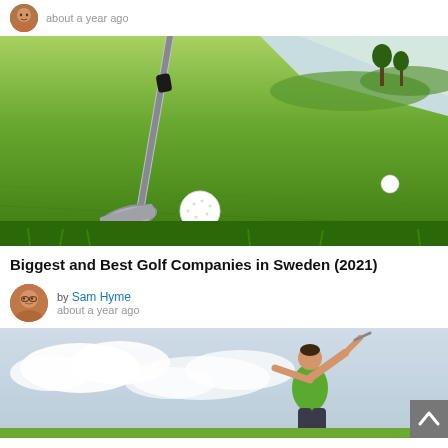about a year ago
[Figure (photo): Close-up photo of a golf iron club head next to a white golf ball on a bright green grass fairway, with another golf ball visible in the background distance.]
Biggest and Best Golf Companies in Sweden (2021)
by Sam Hyme
about a year ago
[Figure (photo): Photo of a golfer mid-swing wearing a bright green shirt against a cloudy sky background.]